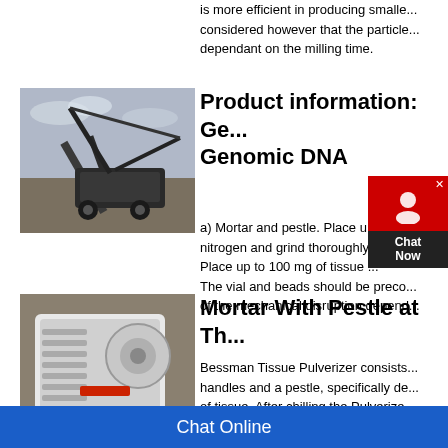is more efficient in producing smaller... considered however that the particle... dependant on the milling time.
[Figure (photo): Industrial mining/crushing machinery with conveyor belt equipment outdoors]
Product information: Ge... Genomic DNA
a) Mortar and pestle. Place u... 0... nitrogen and grind thoroughly... a... Place up to 100 mg of tissue ... The vial and beads should be preco... of the mechanical disruption depend...
[Figure (photo): Industrial jaw crusher / rock crushing machine with white body and red accent]
Mortar With Pestle at Th...
Bessman Tissue Pulverizer consists... handles and a pestle, specifically de... of tissue. After chilling the Pulverize...
Chat Online